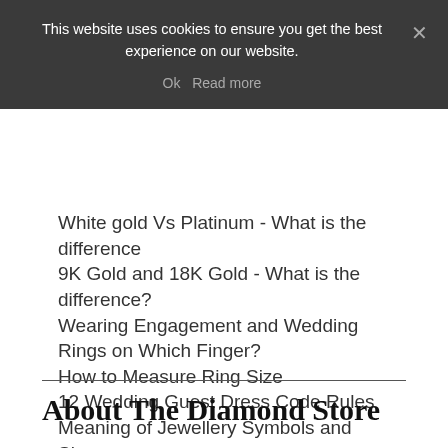This website uses cookies to ensure you get the best experience on our website.
White gold Vs Platinum - What is the difference
9K Gold and 18K Gold - What is the difference?
Wearing Engagement and Wedding Rings on Which Finger?
How to Measure Ring Size
12 Wedding Guest Dress Code Rules
Meaning of Jewellery Symbols and Signs
VS2 or VS1 Diamond Clarity - Which Should You Buy?
10 Facts: Revisiting Kate Middleton's Engagement Ring
About The Diamond Store